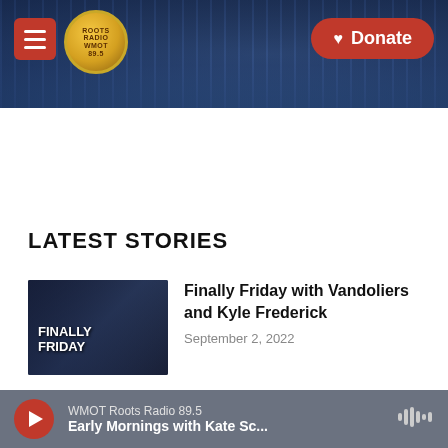[Figure (screenshot): Website header with hamburger menu button, Roots Radio circular logo, and a red Donate button with heart icon, over a dark blue guitar background image]
LATEST STORIES
[Figure (photo): Dark concert/band photo with text overlay reading FINALLY FRIDAY]
Finally Friday with Vandoliers and Kyle Frederick
September 2, 2022
[Figure (photo): Dark concert/band photo similar to first story thumbnail]
Vandoliers and Kyle Frederick Celebrate New Releases with Live Sessions
WMOT Roots Radio 89.5
Early Mornings with Kate Sc...